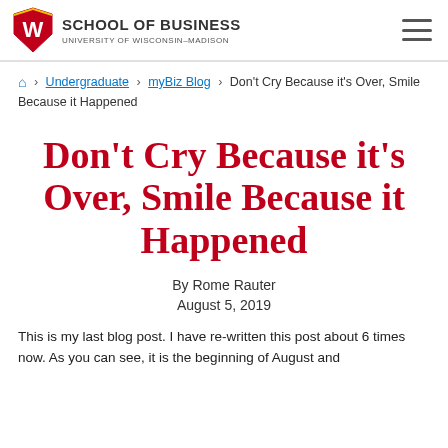Wisconsin School of Business, University of Wisconsin-Madison
🏠 > Undergraduate > myBiz Blog > Don't Cry Because it's Over, Smile Because it Happened
Don't Cry Because it's Over, Smile Because it Happened
By Rome Rauter
August 5, 2019
This is my last blog post. I have re-written this post about 6 times now. As you can see, it is the beginning of August and